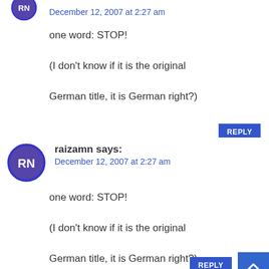[Figure (illustration): Purple circle avatar with white letters RN, top comment (partially visible at top)]
December 12, 2007 at 2:27 am
one word: STOP!
(I don't know if it is the original German title, it is German right?)
REPLY
[Figure (illustration): Purple circle avatar with white letters RN, bottom comment]
raizamn says:
December 12, 2007 at 2:27 am
one word: STOP!
(I don't know if it is the original German title, it is German right?)
REPLY